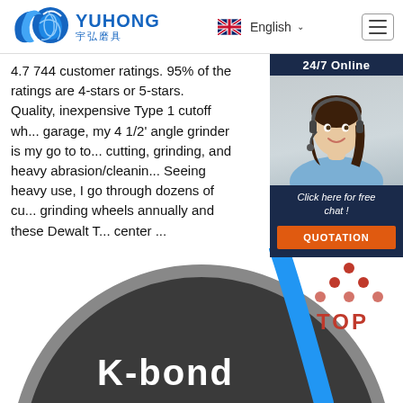[Figure (logo): Yuhong logo with blue wave icon, text YUHONG in blue and Chinese characters 宇弘磨具]
English
4.7 744 customer ratings. 95% of the ratings are 4-stars or 5-stars. Quality, inexpensive Type 1 cutoff wh... garage, my 4 1/2' angle grinder is my go to to... cutting, grinding, and heavy abrasion/cleanin... Seeing heavy use, I go through dozens of cu... grinding wheels annually and these Dewalt T... center ...
[Figure (photo): 24/7 Online chat widget with photo of woman wearing headset, blue background panel, text: 24/7 Online, Click here for free chat!, QUOTATION button]
Get Price
[Figure (photo): Bottom portion showing dark circular grinding wheel with K-bond branding and blue stripe, partial view, TOP button in upper right corner]